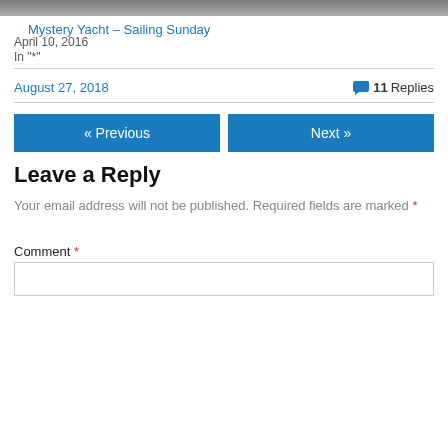[Figure (photo): Partial image of a yacht or boat, muted gray tones, cropped at top]
Mystery Yacht – Sailing Sunday
April 10, 2016
In "*"
August 27, 2018   💬 11 Replies
« Previous
Next »
Leave a Reply
Your email address will not be published. Required fields are marked *
Comment *